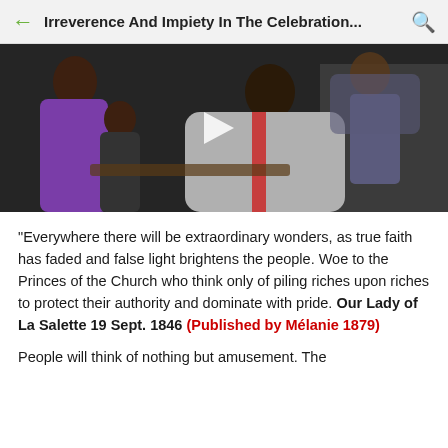Irreverence And Impiety In The Celebration...
[Figure (photo): Video thumbnail showing people seated in what appears to be a church. A play button is visible in the center. People include a young girl in purple on the left and a figure in light gray/white garment in the center.]
“Everywhere there will be extraordinary wonders, as true faith has faded and false light brightens the people. Woe to the Princes of the Church who think only of piling riches upon riches to protect their authority and dominate with pride. Our Lady of La Salette 19 Sept. 1846 (Published by Mélanie 1879)
People will think of nothing but amusement. The